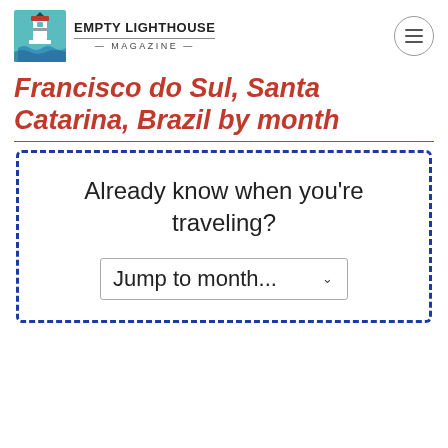Empty Lighthouse Magazine
Francisco do Sul, Santa Catarina, Brazil by month
Already know when you're traveling?
Jump to month...